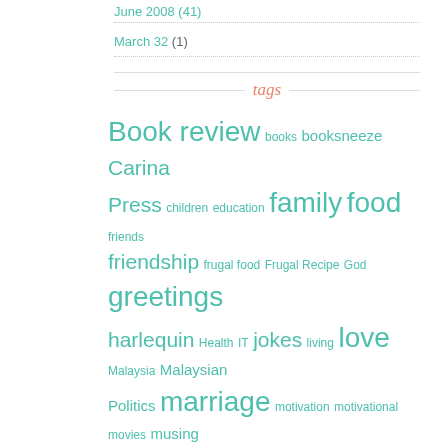June 2008 (41)
March 32 (1)
tags
Book review books booksneeze Carina Press children education family food friends friendship frugal food Frugal Recipe God greetings harlequin Health IT jokes living love Malaysia Malaysian Politics marriage motivation motivational movies musing nanowrimo08 Netgalley parenting politics Product review ranting rantings recipe relationship religion review sex stupidities stupidity tag Thomas Nelson travel writing